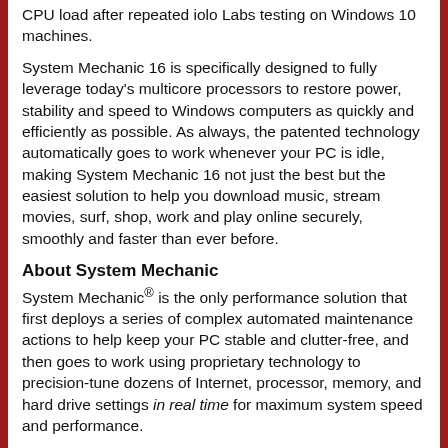CPU load after repeated iolo Labs testing on Windows 10 machines.
System Mechanic 16 is specifically designed to fully leverage today's multicore processors to restore power, stability and speed to Windows computers as quickly and efficiently as possible. As always, the patented technology automatically goes to work whenever your PC is idle, making System Mechanic 16 not just the best but the easiest solution to help you download music, stream movies, surf, shop, work and play online securely, smoothly and faster than ever before.
About System Mechanic
System Mechanic® is the only performance solution that first deploys a series of complex automated maintenance actions to help keep your PC stable and clutter-free, and then goes to work using proprietary technology to precision-tune dozens of Internet, processor, memory, and hard drive settings in real time for maximum system speed and performance.
System Mechanic operates whenever your PC is idle, removing junk files, registry fragments, and other unwanted clutter that confuses and slows down Windows. A group of real-time features next scales back unimportant, processor-hogging apps, unlocks trapped RAM and idle processor cores for programs when they need it, and improves a whole cache of under-performing network settings for the smoothest streaming, gaming, or browsing available with your broadband connection.
System Mechanic has been used by more than 45 million people to keep over 80 million computers in optimal condition since 1998. It is